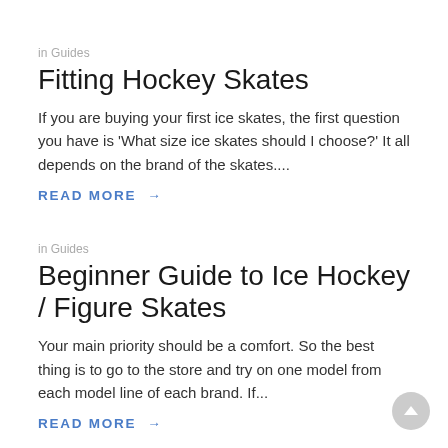in Guides
Fitting Hockey Skates
If you are buying your first ice skates, the first question you have is 'What size ice skates should I choose?' It all depends on the brand of the skates....
READ MORE →
in Guides
Beginner Guide to Ice Hockey / Figure Skates
Your main priority should be a comfort. So the best thing is to go to the store and try on one model from each model line of each brand. If...
READ MORE →